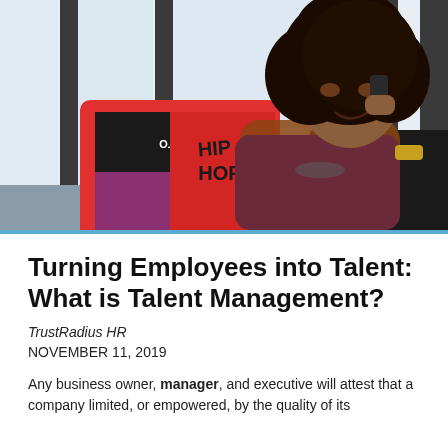[Figure (photo): A woman with curly hair sitting at a desk, smiling and talking on a phone, with a colorful red laptop in front of her and windows in the background.]
Turning Employees into Talent: What is Talent Management?
TrustRadius HR
NOVEMBER 11, 2019
Any business owner, manager, and executive will attest that a company limited, or empowered, by the quality of its